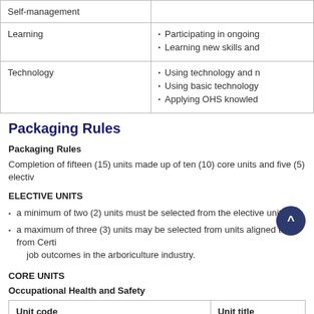|  |  |
| --- | --- |
| Self-management |  |
| Learning | Participating in ongoing
Learning new skills and |
| Technology | Using technology and 
Using basic technology
Applying OHS knowled |
Packaging Rules
Packaging Rules
Completion of fifteen (15) units made up of ten (10) core units and five (5) electiv
ELECTIVE UNITS
a minimum of two (2) units must be selected from the elective unit list
a maximum of three (3) units may be selected from units aligned to from Certif job outcomes in the arboriculture industry.
CORE UNITS
Occupational Health and Safety
| Unit code | Unit title |
| --- | --- |
| CPCCOHS2001A | Apply OHS |